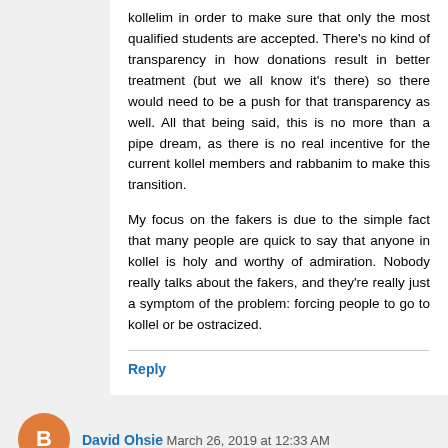kollelim in order to make sure that only the most qualified students are accepted. There's no kind of transparency in how donations result in better treatment (but we all know it's there) so there would need to be a push for that transparency as well. All that being said, this is no more than a pipe dream, as there is no real incentive for the current kollel members and rabbanim to make this transition.

My focus on the fakers is due to the simple fact that many people are quick to say that anyone in kollel is holy and worthy of admiration. Nobody really talks about the fakers, and they're really just a symptom of the problem: forcing people to go to kollel or be ostracized.
Reply
David Ohsie  March 26, 2019 at 12:33 AM